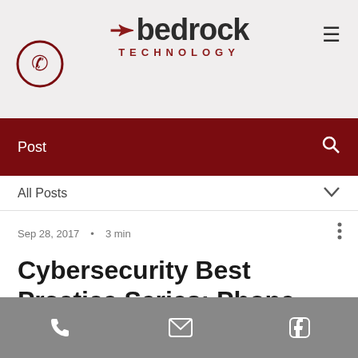2bedrock TECHNOLOGY
Post
All Posts
Sep 28, 2017  •  3 min
Cybersecurity Best Practice Series: Phone Scams
[phone icon] [email icon] [facebook icon]